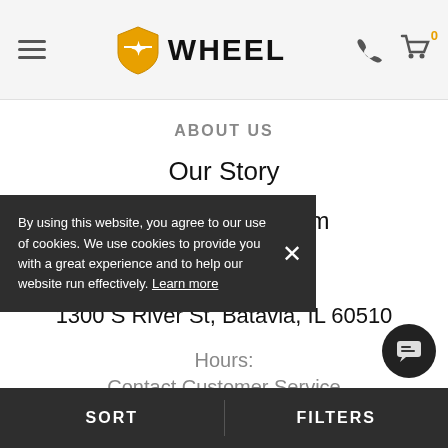WHEEL
ABOUT US
Our Story
Wholesale Program
Careers
1300 S River St, Batavia, IL 60510
Hours:
Contact Customer Service
M CST
Monday - Friday 9AM to 6PM CST
Saturday 10AM to 6PM CST
By using this website, you agree to our use of cookies. We use cookies to provide you with a great experience and to help our website run effectively. Learn more
SORT   FILTERS